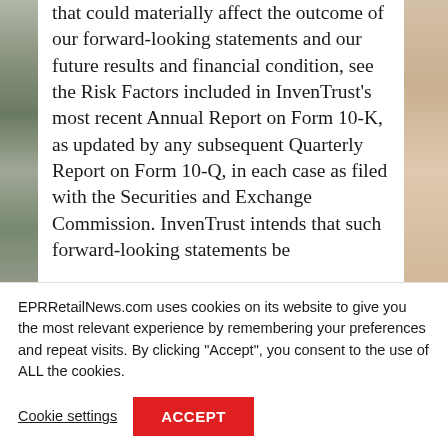that could materially affect the outcome of our forward-looking statements and our future results and financial condition, see the Risk Factors included in InvenTrust's most recent Annual Report on Form 10-K, as updated by any subsequent Quarterly Report on Form 10-Q, in each case as filed with the Securities and Exchange Commission. InvenTrust intends that such forward-looking statements be
EPRRetailNews.com uses cookies on its website to give you the most relevant experience by remembering your preferences and repeat visits. By clicking “Accept”, you consent to the use of ALL the cookies.
Cookie settings  ACCEPT